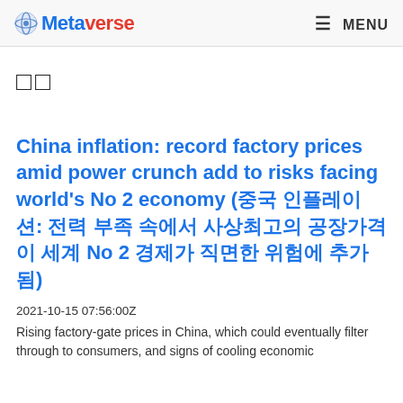Metaverse  MENU
□□
China inflation: record factory prices amid power crunch add to risks facing world's No 2 economy (중국 인플레이션: 전력 부족 속에서 사상최고의 공장가격이 세계 No 2 경제가 직면한 위험에 추가됨)
2021-10-15 07:56:00Z
Rising factory-gate prices in China, which could eventually filter through to consumers, and signs of cooling economic